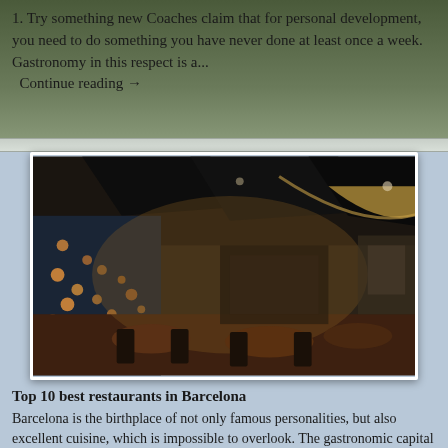1. Try something new Coaches claim that for personal development, you need to do something you have never done at least once a week. Gastronomy in this respect is a... Continue reading →
[Figure (photo): Interior of a modern upscale restaurant with dim atmospheric lighting, dark ceiling panels, string lights on left wall, wooden tables and chairs, warm amber tones throughout.]
Top 10 best restaurants in Barcelona
Barcelona is the birthplace of not only famous personalities, but also excellent cuisine, which is impossible to overlook. The gastronomic capital of Spain annually attracts thousands of tourists who are...